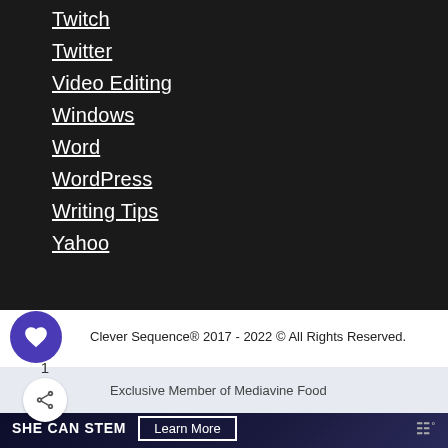Twitch
Twitter
Video Editing
Windows
Word
WordPress
Writing Tips
Yahoo
Clever Sequence® 2017 - 2022 © All Rights Reserved.
Exclusive Member of Mediavine Food
SHE CAN STEM  Learn More